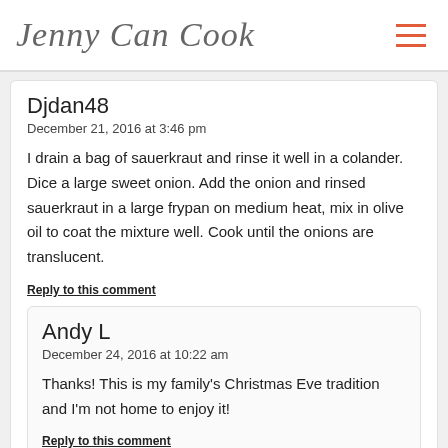Jenny Can Cook
Djdan48
December 21, 2016 at 3:46 pm
I drain a bag of sauerkraut and rinse it well in a colander. Dice a large sweet onion. Add the onion and rinsed sauerkraut in a large frypan on medium heat, mix in olive oil to coat the mixture well. Cook until the onions are translucent.
Reply to this comment
Andy L
December 24, 2016 at 10:22 am
Thanks! This is my family's Christmas Eve tradition and I'm not home to enjoy it!
Reply to this comment